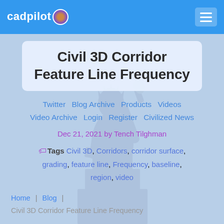cadpilot
Civil 3D Corridor Feature Line Frequency
Twitter  Blog Archive  Products  Videos  Video Archive  Login  Register  Civilized News
Dec 21, 2021 by Tench Tilghman
Tags Civil 3D, Corridors, corridor surface, grading, feature line, Frequency, baseline, region, video
Home | Blog | Civil 3D Corridor Feature Line Frequency